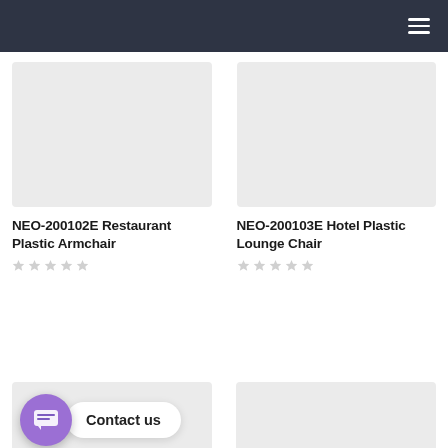[Figure (photo): Empty light gray product image placeholder for NEO-200102E Restaurant Plastic Armchair]
NEO-200102E Restaurant Plastic Armchair
[Figure (photo): Empty light gray product image placeholder for NEO-200103E Hotel Plastic Lounge Chair]
NEO-200103E Hotel Plastic Lounge Chair
[Figure (photo): Partial product image placeholder with Contact us chat widget overlay]
[Figure (screenshot): Partial product image placeholder with English language selector dropdown at bottom]